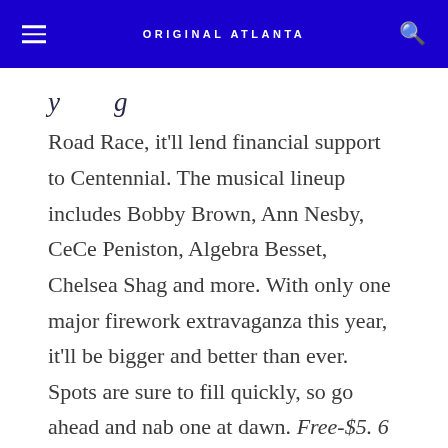ORIGINAL ATLANTA
Road Race, it'll lend financial support to Centennial. The musical lineup includes Bobby Brown, Ann Nesby, CeCe Peniston, Algebra Besset, Chelsea Shag and more. With only one major firework extravaganza this year, it'll be bigger and better than ever. Spots are sure to fill quickly, so go ahead and nab one at dawn. Free-$5. 6 p.m. Tues., July 4. Centennial Olympic Park, 265 Park Ave. West N.W.